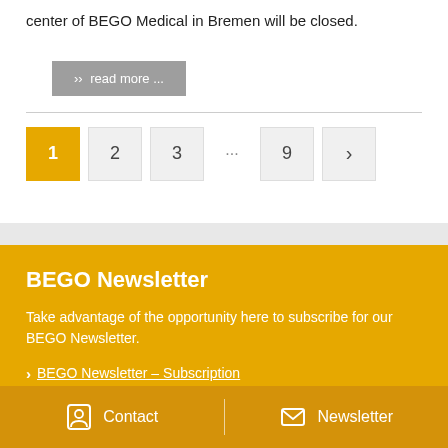center of BEGO Medical in Bremen will be closed.
› read more ...
1  2  3  ...  9  >
BEGO Newsletter
Take advantage of the opportunity here to subscribe for our BEGO Newsletter.
› BEGO Newsletter – Subscription
Contact  |  Newsletter